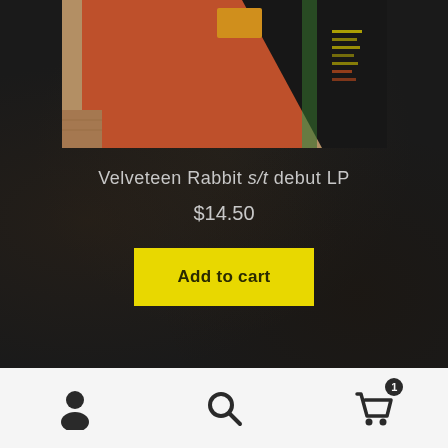[Figure (photo): Partial view of a vinyl record album with orange/red and black artwork, taken from an angle showing the record spine and cover]
Velveteen Rabbit s/t debut LP
$14.50
Add to cart
Navigation bar with account icon, search icon, and cart icon with badge showing 1